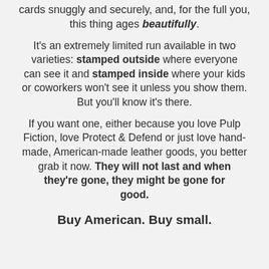cards snuggly and securely, and, for the full you, this thing ages beautifully.
It's an extremely limited run available in two varieties: stamped outside where everyone can see it and stamped inside where your kids or coworkers won't see it unless you show them. But you'll know it's there.
If you want one, either because you love Pulp Fiction, love Protect & Defend or just love hand-made, American-made leather goods, you better grab it now. They will not last and when they're gone, they might be gone for good.
Buy American. Buy small.